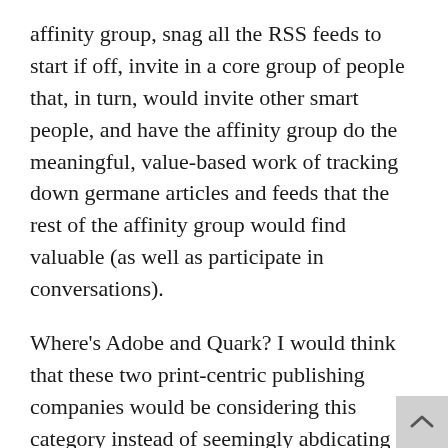affinity group, snag all the RSS feeds to start if off, invite in a core group of people that, in turn, would invite other smart people, and have the affinity group do the meaningful, value-based work of tracking down germane articles and feeds that the rest of the affinity group would find valuable (as well as participate in conversations).
Where's Adobe and Quark? I would think that these two print-centric publishing companies would be considering this category instead of seemingly abdicating it to Yahoo, Google, Microsoft and, to a lesser consumer extent, Apple with .Mac.  Adobe has the enabling tools and the server-based offerings, but no way to deliver participatory, network accelerated value.
This concept goes beyond page layout, PDF creation, Flash manipulation, audio/video creation, or most other enabling tools that are “push” or “container-ish” in nature. Instead, a